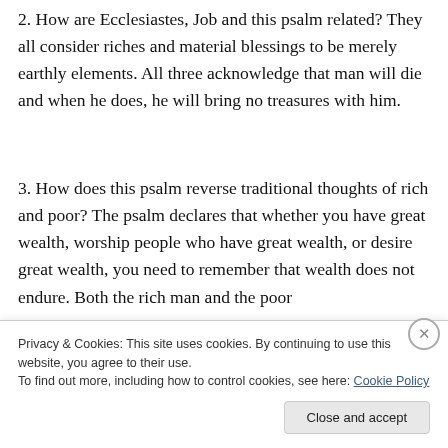2. How are Ecclesiastes, Job and this psalm related? They all consider riches and material blessings to be merely earthly elements. All three acknowledge that man will die and when he does, he will bring no treasures with him.
3. How does this psalm reverse traditional thoughts of rich and poor? The psalm declares that whether you have great wealth, worship people who have great wealth, or desire great wealth, you need to remember that wealth does not endure. Both the rich man and the poor
Privacy & Cookies: This site uses cookies. By continuing to use this website, you agree to their use.
To find out more, including how to control cookies, see here: Cookie Policy